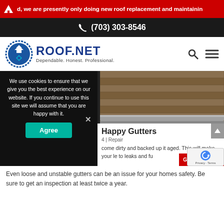d, we are presently only doing new roof replacement and maintainin
(703) 303-8546
[Figure (logo): Roof.Net logo with circular badge icon and text 'ROOF.NET Dependable. Honest. Professional.']
[Figure (photo): Photo of wooden siding and metal gutter on a house]
We use cookies to ensure that we give you the best experience on our website. If you continue to use this site we will assume that you are happy with it.
Agree
Happy Gutters
4 | Repair
come dirty and backed up it aged. This will make your le to leaks and fu
GET A QUOTE
Even loose and unstable gutters can be an issue for your homes safety. Be sure to get an inspection at least twice a year.